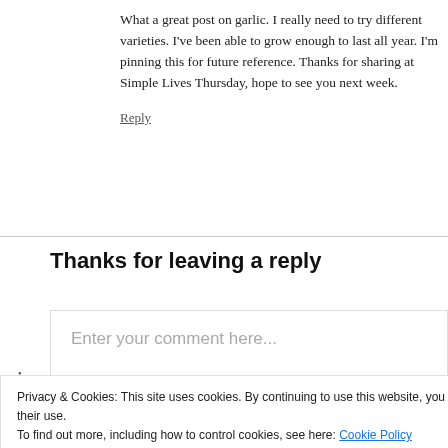What a great post on garlic. I really need to try different varieties. I have been able to grow enough to last all year. I'm pinning this for future reference. Thanks for sharing at Simple Lives Thursday, hope to see you next week.
Reply
Thanks for leaving a reply
Enter your comment here...
Privacy & Cookies: This site uses cookies. By continuing to use this website, you agree to their use.
To find out more, including how to control cookies, see here: Cookie Policy